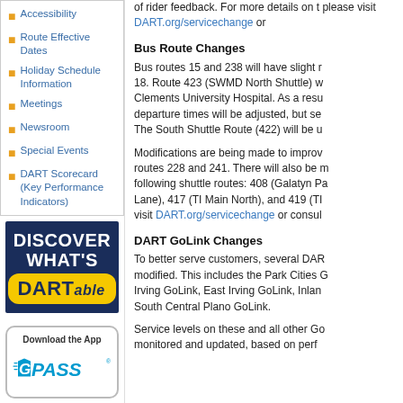Accessibility
Route Effective Dates
Holiday Schedule Information
Meetings
Newsroom
Special Events
DART Scorecard (Key Performance Indicators)
[Figure (infographic): DISCOVER WHAT'S DARTable promotional banner with dark navy background and yellow badge]
[Figure (logo): GoPass app download banner with GoPass logo in blue and teal]
of rider feedback. For more details on the please visit DART.org/servicechange or
Bus Route Changes
Bus routes 15 and 238 will have slight r 18. Route 423 (SWMD North Shuttle) w Clements University Hospital. As a resu departure times will be adjusted, but se The South Shuttle Route (422) will be u
Modifications are being made to improv routes 228 and 241. There will also be r following shuttle routes: 408 (Galatyn P Lane), 417 (TI Main North), and 419 (TI visit DART.org/servicechange or consul
DART GoLink Changes
To better serve customers, several DAR modified. This includes the Park Cities G Irving GoLink, East Irving GoLink, Inlan South Central Plano GoLink.
Service levels on these and all other Go monitored and updated, based on perf